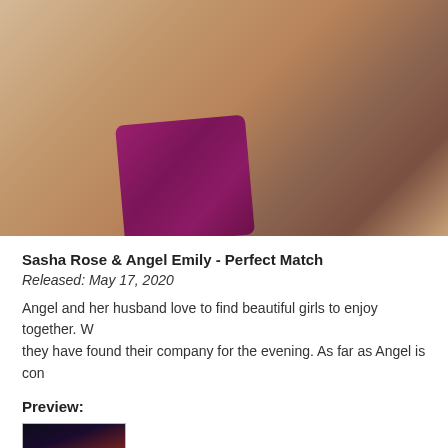[Figure (photo): Close-up photo of two people on a bed with a magenta/purple pillow, white bedding visible]
Sasha Rose & Angel Emily - Perfect Match
Released: May 17, 2020
Angel and her husband love to find beautiful girls to enjoy together. W... they have found their company for the evening. As far as Angel is con...
Preview:
[Figure (photo): Small preview thumbnail image]